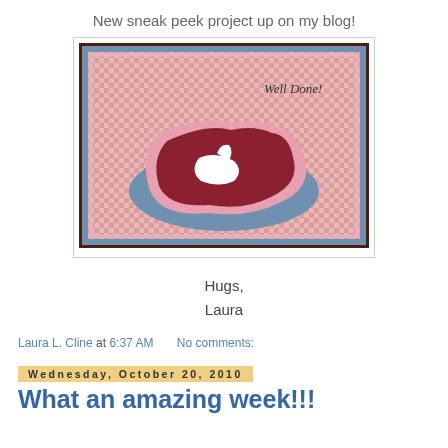New sneak peek project up on my blog!
[Figure (photo): A handmade greeting card with a pink gingham background, a layered paper steak shape in dark red and pink on a blue oval plate, with the text 'Well Done!' in script at the top right.]
Hugs,
Laura
Laura L. Cline at 6:37 AM   No comments:
Wednesday, October 20, 2010
What an amazing week!!!